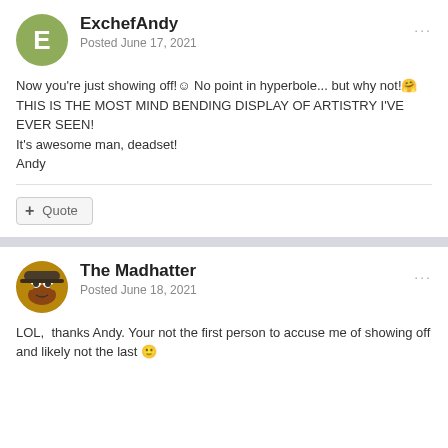ExchefAndy
Posted June 17, 2021
Now you're just showing off!☺ No point in hyperbole... but why not!🤗
THIS IS THE MOST MIND BENDING DISPLAY OF ARTISTRY I'VE EVER SEEN!
It's awesome man, deadset!
Andy
+ Quote
The Madhatter
Posted June 18, 2021
LOL,  thanks Andy. Your not the first person to accuse me of showing off and likely not the last 🙂